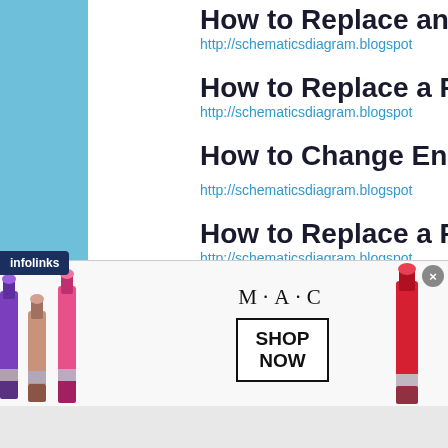How to Replace an...
http://schematicsdiagram.blogspot...
How to Replace a P...
http://schematicsdiagram.blogspot...
How to Change Eng...
http://schematicsdiagram.blogspot...
How to Replace a P...
http://schematicsdiagram.blogspot...
How to Replace a P...
[Figure (photo): MAC cosmetics advertisement banner with lipsticks on left and right sides, MAC logo in center, SHOP NOW button, and infolinks badge overlay]